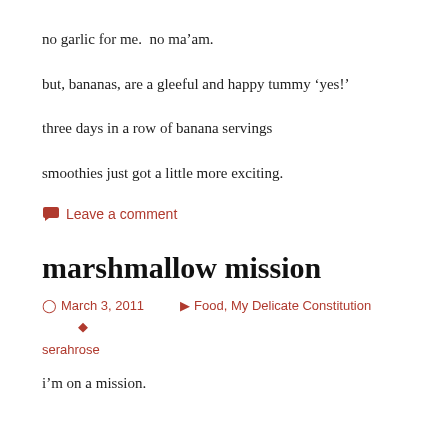no garlic for me.  no ma’am.
but, bananas, are a gleeful and happy tummy ‘yes!’
three days in a row of banana servings
smoothies just got a little more exciting.
Leave a comment
marshmallow mission
March 3, 2011   Food, My Delicate Constitution   serahrose
i’m on a mission.